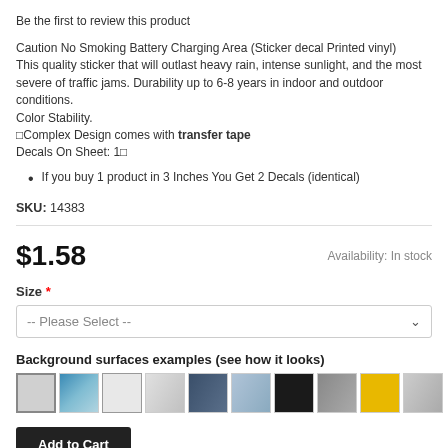Be the first to review this product
Caution No Smoking Battery Charging Area (Sticker decal Printed vinyl)
This quality sticker that will outlast heavy rain, intense sunlight, and the most severe of traffic jams. Durability up to 6-8 years in indoor and outdoor conditions.
Color Stability.
◁Complex Design comes with transfer tape
Decals On Sheet: 1▷
If you buy 1 product in 3 Inches You Get 2 Decals (identical)
SKU: 14383
$1.58
Availability: In stock
Size *
-- Please Select --
Background surfaces examples (see how it looks)
[Figure (other): Ten color swatch squares showing different background surface examples: light gray, blue cloudy, white/light, silver metallic, dark slate, light blue-gray, black, dark gray, yellow/gold, light gray misty]